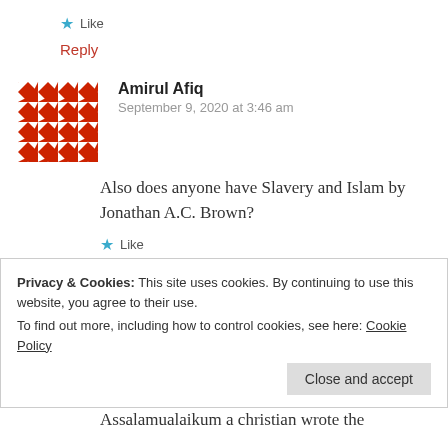★ Like
Reply
Amirul Afiq
September 9, 2020 at 3:46 am
Also does anyone have Slavery and Islam by Jonathan A.C. Brown?
★ Like
Reply
Privacy & Cookies: This site uses cookies. By continuing to use this website, you agree to their use.
To find out more, including how to control cookies, see here: Cookie Policy
Close and accept
Assalamualaikum a christian wrote the follo...